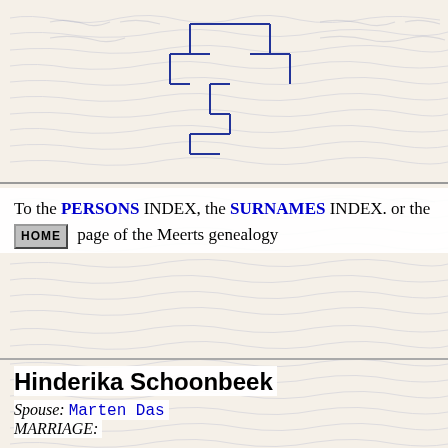[Figure (other): Genealogy tree diagram lines (top), decorative handwritten manuscript watermark background]
To the PERSONS INDEX, the SURNAMES INDEX. or the HOME page of the Meerts genealogy
Hinderika Schoonbeek
Spouse: Marten Das
MARRIAGE:
Children from this relation
1. Janna Das (1 DEC 1897 - )
[Figure (other): Genealogy tree diagram lines (bottom), decorative handwritten manuscript watermark background]